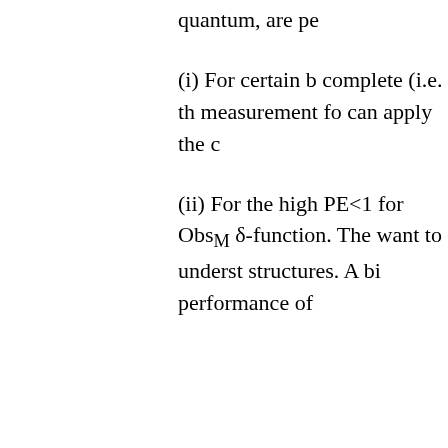quantum, are pe
(i) For certain b complete (i.e. th measurement fo can apply the c
(ii) For the high PE<1 for Obs_M δ-function. The want to underst structures. A bi performance of